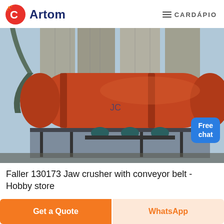Artom — CARDÁPIO
[Figure (photo): Industrial rotary drum / kiln machinery (orange/red cylindrical drum) mounted on a structural platform with grey concrete silos in the background. A 'Free chat' badge overlay is visible in the bottom-right corner.]
Faller 130173 Jaw crusher with conveyor belt - Hobby store
Get a Quote
WhatsApp